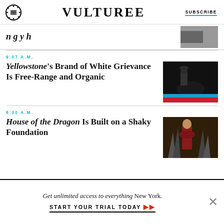VULTURE | SUBSCRIBE
partial headline text (cropped)
9:07 A.M.
Yellowstone's Brand of White Grievance Is Free-Range and Organic
8:00 A.M.
House of the Dragon Is Built on a Shaky Foundation
Get unlimited access to everything New York. START YOUR TRIAL TODAY →→